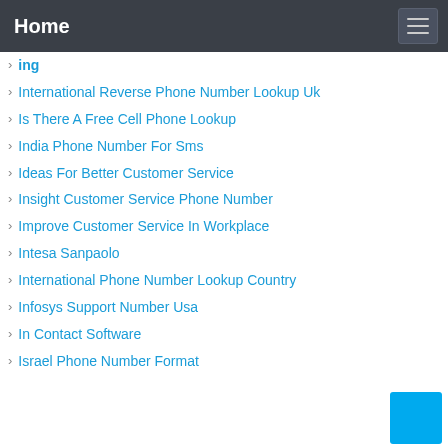Home
ing
International Reverse Phone Number Lookup Uk
Is There A Free Cell Phone Lookup
India Phone Number For Sms
Ideas For Better Customer Service
Insight Customer Service Phone Number
Improve Customer Service In Workplace
Intesa Sanpaolo
International Phone Number Lookup Country
Infosys Support Number Usa
In Contact Software
Israel Phone Number Format